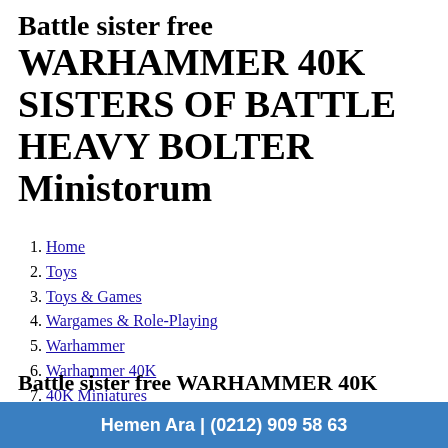Battle sister free WARHAMMER 40K SISTERS OF BATTLE HEAVY BOLTER Ministorum
Home
Toys
Toys & Games
Wargames & Role-Playing
Warhammer
Warhammer 40K
40K Miniatures
Battle sister free WARHAMMER 40K SISTERS OF BATTLE HEAVY BOLTER
Hemen Ara | (0212) 909 58 63